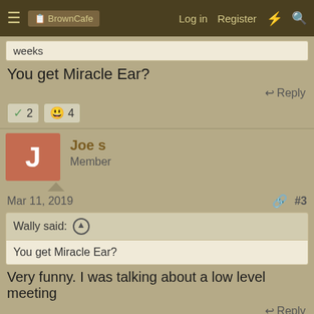BrownCafe — Log in  Register
weeks
You get Miracle Ear?
Reply
✓ 2   😊 4
Joe s — Member
Mar 11, 2019   #3
Wally said: ↑  You get Miracle Ear?
Very funny. I was talking about a low level meeting
Reply